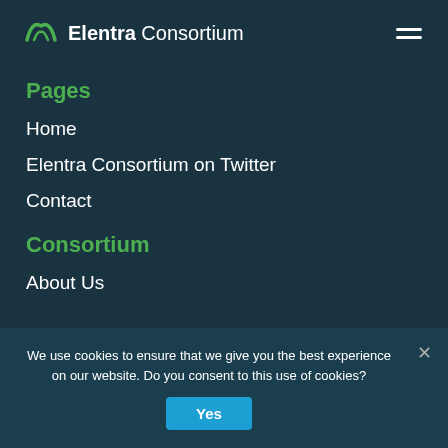Elentra Consortium
Pages
Home
Elentra Consortium on Twitter
Contact
Consortium
About Us
We use cookies to ensure that we give you the best experience on our website. Do you consent to this use of cookies?